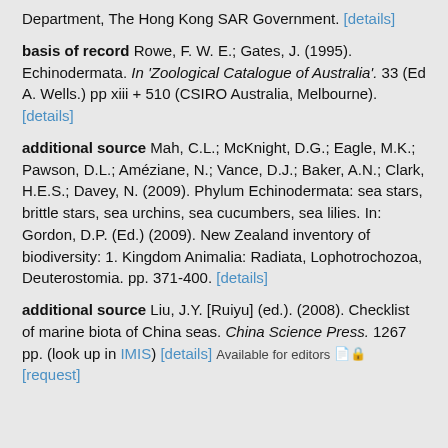Department, The Hong Kong SAR Government. [details]
basis of record Rowe, F. W. E.; Gates, J. (1995). Echinodermata. In 'Zoological Catalogue of Australia'. 33 (Ed A. Wells.) pp xiii + 510 (CSIRO Australia, Melbourne). [details]
additional source Mah, C.L.; McKnight, D.G.; Eagle, M.K.; Pawson, D.L.; Améziane, N.; Vance, D.J.; Baker, A.N.; Clark, H.E.S.; Davey, N. (2009). Phylum Echinodermata: sea stars, brittle stars, sea urchins, sea cucumbers, sea lilies. In: Gordon, D.P. (Ed.) (2009). New Zealand inventory of biodiversity: 1. Kingdom Animalia: Radiata, Lophotrochozoa, Deuterostomia. pp. 371-400. [details]
additional source Liu, J.Y. [Ruiyu] (ed.). (2008). Checklist of marine biota of China seas. China Science Press. 1267 pp. (look up in IMIS) [details] Available for editors [request]